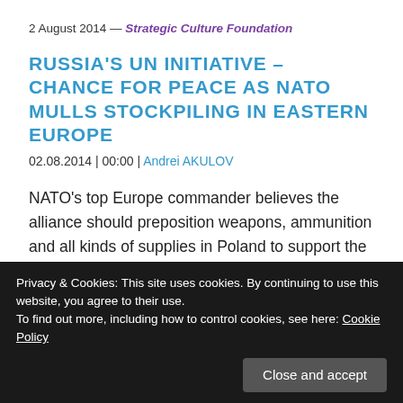2 August 2014 — Strategic Culture Foundation
RUSSIA'S UN INITIATIVE – CHANCE FOR PEACE AS NATO MULLS STOCKPILING IN EASTERN EUROPE
02.08.2014 | 00:00 | Andrei AKULOV
NATO's top Europe commander believes the alliance should preposition weapons, ammunition and all kinds of supplies in Poland to support the deployment of a large force in case of hostilities with Russia… The stockpiling of supplies is just a step short of a permanent massive deployment of foreign NATO
Privacy & Cookies: This site uses cookies. By continuing to use this website, you agree to their use. To find out more, including how to control cookies, see here: Cookie Policy